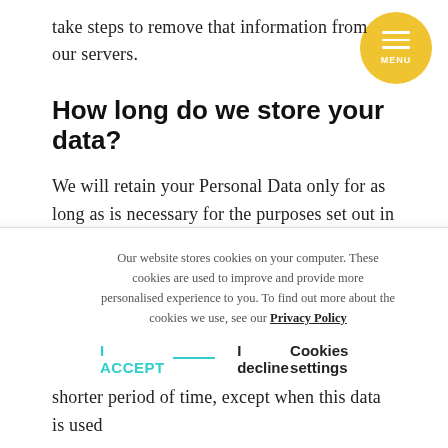take steps to remove that information from our servers.
How long do we store your data?
We will retain your Personal Data only for as long as is necessary for the purposes set out in this Privacy Policy. We will retain and use your Personal Data to the extent necessary to comply with our legal obligations (for example, if we are required to retain your data to comply with applicable laws)
Our website stores cookies on your computer. These cookies are used to improve and provide more personalised experience to you. To find out more about the cookies we use, see our Privacy Policy
I ACCEPT  I decline  Cookies settings
shorter period of time, except when this data is used